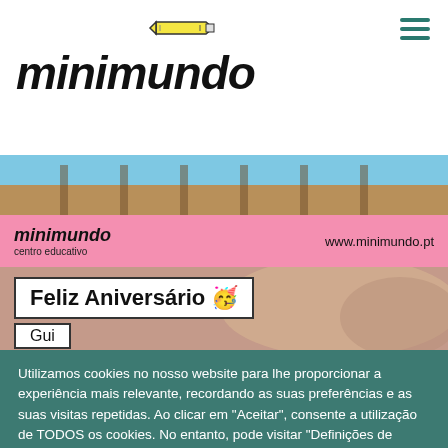[Figure (logo): Minimundo logo with pencil icon and hamburger menu]
[Figure (photo): Hero photo banner showing outdoor scene with sky and fence]
[Figure (infographic): Pink bar with minimundo centro educativo logo and www.minimundo.pt URL]
[Figure (photo): Birthday section showing 'Feliz Aniversário 🥳' card and 'Gui' name tag over a background photo]
Utilizamos cookies no nosso website para lhe proporcionar a experiência mais relevante, recordando as suas preferências e as suas visitas repetidas. Ao clicar em "Aceitar", consente a utilização de TODOS os cookies. No entanto, pode visitar "Definições de Cookies" para dar um consentimento controlado.
Definições de Cookies
Aceitar